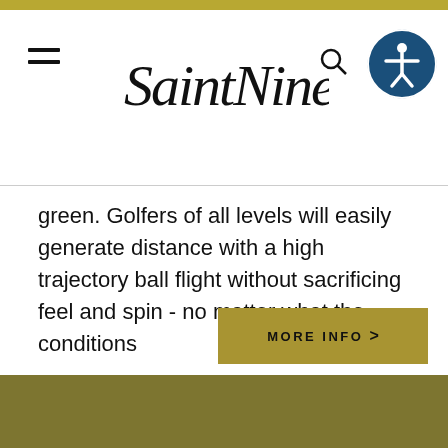SaintNine — navigation header with hamburger menu, logo, search and accessibility icons
green. Golfers of all levels will easily generate distance with a high trajectory ball flight without sacrificing feel and spin - no matter what the conditions
MORE INFO >